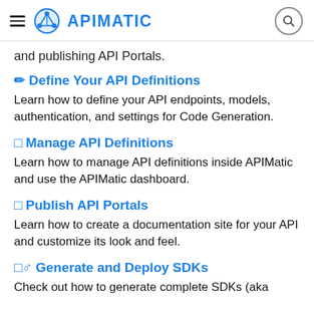APIMATIC
and publishing API Portals.
✏ Define Your API Definitions
Learn how to define your API endpoints, models, authentication, and settings for Code Generation.
□ Manage API Definitions
Learn how to manage API definitions inside APIMatic and use the APIMatic dashboard.
□ Publish API Portals
Learn how to create a documentation site for your API and customize its look and feel.
□♂ Generate and Deploy SDKs
Check out how to generate complete SDKs (aka